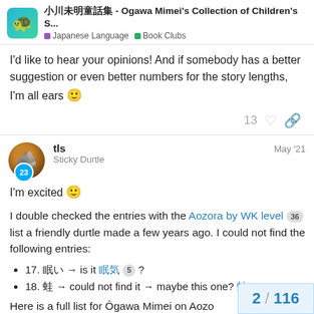小川未明童話集 - Ogawa Mimei's Collection of Children's S... | Japanese Language | Book Clubs
I'd like to hear your opinions! And if somebody has a better suggestion or even better numbers for the story lengths, I'm all ears 🙂
13 ♡ 🔗
tls — May '21
Sticky Durtle
I'm excited 🙂
I double checked the entries with the Aozora by WK level [36] list a friendly durtle made a few years ago. I could not find the following entries:
17. 眠い → is it 眠気 [5] ?
18. 蛙 → could not find it → maybe this one? 蛙
Here is a full list for Ôgawa Mimei on Aozo
2 / 116